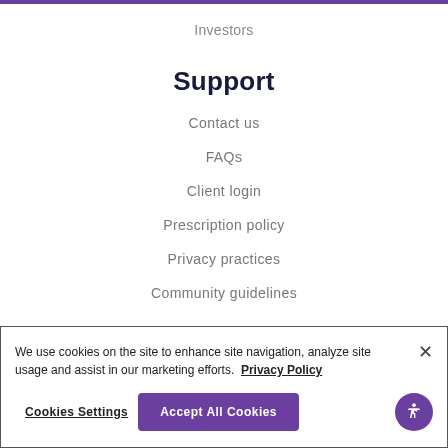Investors
Support
Contact us
FAQs
Client login
Prescription policy
Privacy practices
Community guidelines
We use cookies on the site to enhance site navigation, analyze site usage and assist in our marketing efforts. Privacy Policy